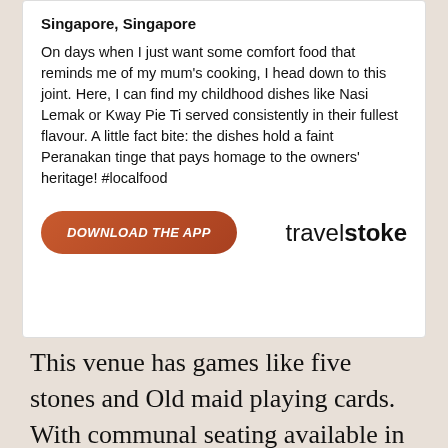Singapore, Singapore
On days when I just want some comfort food that reminds me of my mum's cooking, I head down to this joint. Here, I can find my childhood dishes like Nasi Lemak or Kway Pie Ti served consistently in their fullest flavour. A little fact bite: the dishes hold a faint Peranakan tinge that pays homage to the owners' heritage! #localfood
[Figure (other): Download the App button (orange pill-shaped button) and travelstoke brand logo]
This venue has games like five stones and Old maid playing cards. With communal seating available in the bistro, it makes it easy for family and friends, young and old, to gather together for a good meal